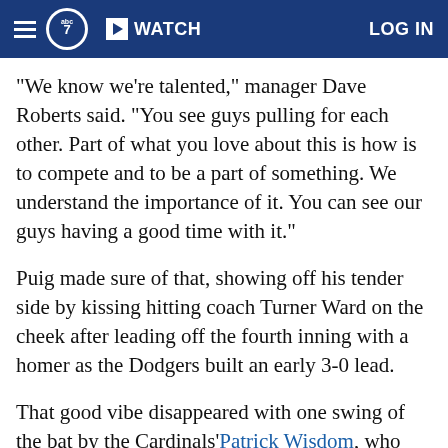abc7 WATCH LOG IN
"We know we're talented," manager Dave Roberts said. "You see guys pulling for each other. Part of what you love about this is how is to compete and to be a part of something. We understand the importance of it. You can see our guys having a good time with it."
Puig made sure of that, showing off his tender side by kissing hitting coach Turner Ward on the cheek after leading off the fourth inning with a homer as the Dodgers built an early 3-0 lead.
That good vibe disappeared with one swing of the bat by the Cardinals' Patrick Wisdom, who made L.A. starter Rich Hill pay for walking the bases full in the